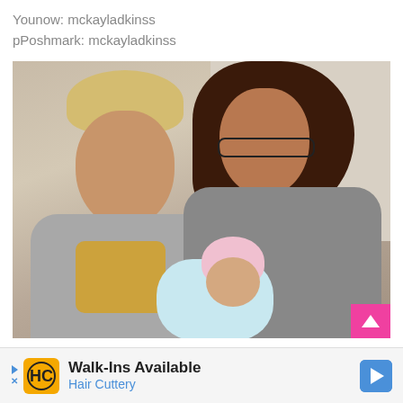Younow: mckayladkinss
pPoshmark: mckayladkinss
[Figure (photo): A young man with blonde hair and a young woman with dark curly hair wearing glasses, both looking at a newborn baby the woman is holding. The woman is wearing a gray shirt and hospital wristbands. The baby is wearing a pink hat and light blue outfit.]
Walk-Ins Available
Hair Cuttery